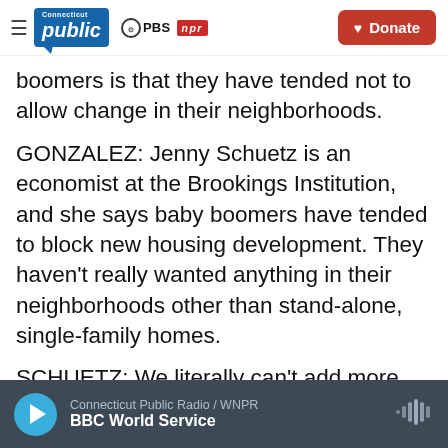Connecticut Public | PBS | NPR — Donate
boomers is that they have tended not to allow change in their neighborhoods.
GONZALEZ: Jenny Schuetz is an economist at the Brookings Institution, and she says baby boomers have tended to block new housing development. They haven't really wanted anything in their neighborhoods other than stand-alone, single-family homes.
SCHUETZ: We literally can't add more homes to a neighborhood because the older residents who live there won't let us build it.
Connecticut Public Radio / WNPR — BBC World Service